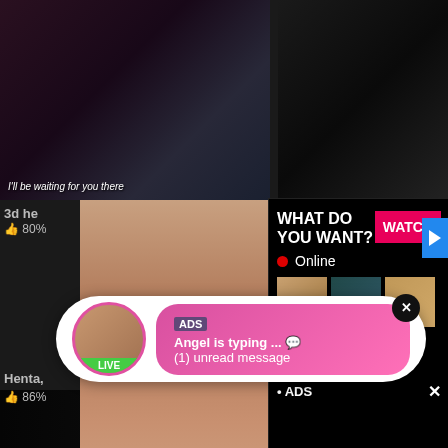[Figure (screenshot): Adult content website screenshot showing video thumbnails, an advertisement popup with text 'WHAT DO YOU WANT?' and a WATCH button, online indicator, and a chat notification popup saying 'Angel is typing...' with ADS label and '(1) unread message']
3d he
80%
WHAT DO YOU WANT?
WATCH
Online
Cumming, ass fucking, squirt or...
• ADS
ADS
Angel is typing ... 💬
(1) unread message
Henta,
86%
LIVE
http://Hentaifan.ml